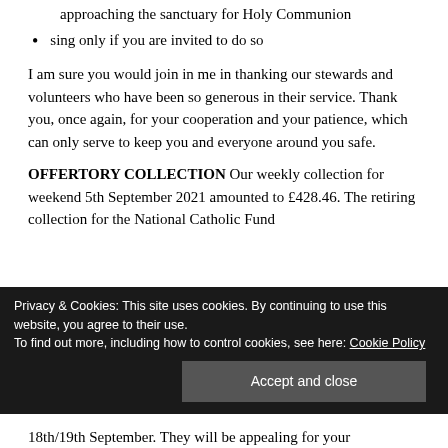approaching the sanctuary for Holy Communion
sing only if you are invited to do so
I am sure you would join in me in thanking our stewards and volunteers who have been so generous in their service. Thank you, once again, for your cooperation and your patience, which can only serve to keep you and everyone around you safe.
OFFERTORY COLLECTION Our weekly collection for weekend 5th September 2021 amounted to £428.46. The retiring collection for the National Catholic Fund
Privacy & Cookies: This site uses cookies. By continuing to use this website, you agree to their use.
To find out more, including how to control cookies, see here: Cookie Policy
Accept and close
18th/19th September. They will be appealing for your